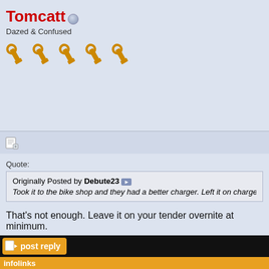Tomcatt
Dazed & Confused
[Figure (illustration): Five wrench/tool icons in a row]
Quote:
Originally Posted by Debute23
Took it to the bike shop and they had a better charger. Left it on charge
That's not enough. Leave it on your tender overnite at minimum.
2017 XL1200C in SE Wisconsin, USA
[Figure (screenshot): Post reply button with icon on black bar]
infolinks
Recommend: This Diabetes Treatment Will
n/a